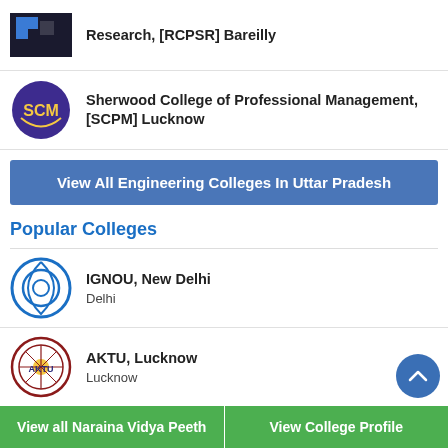Research, [RCPSR] Bareilly
Sherwood College of Professional Management, [SCPM] Lucknow
View All Engineering Colleges In Uttar Pradesh
Popular Colleges
IGNOU, New Delhi
Delhi
AKTU, Lucknow
Lucknow
Gujarat University, Ahmedabad
Ahmedabad
MJP Rohilkhand University, [MJPRU] Bareilly
View all Naraina Vidya Peeth | View College Profile